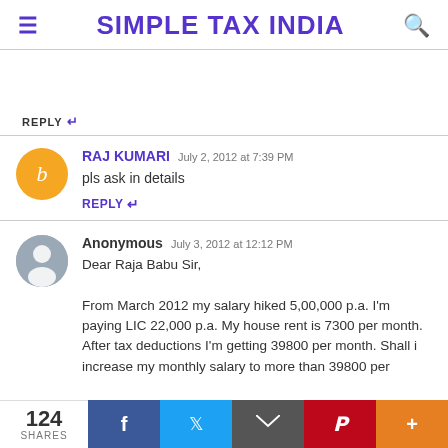SIMPLE TAX INDIA
REPLY
RAJ KUMARI July 2, 2012 at 7:39 PM
pls ask in details
REPLY
Anonymous July 3, 2012 at 12:12 PM
Dear Raja Babu Sir,
From March 2012 my salary hiked 5,00,000 p.a. I'm paying LIC 22,000 p.a. My house rent is 7300 per month. After tax deductions I'm getting 39800 per month. Shall i increase my monthly salary to more than 39800 per
124 SHARES